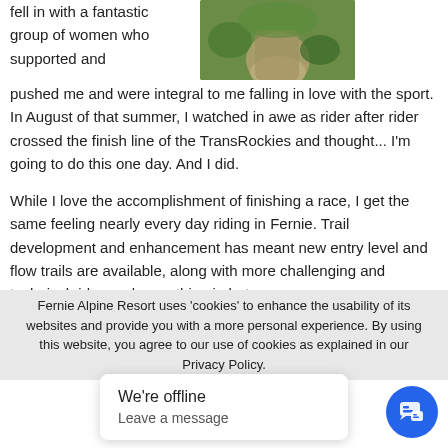fell in with a fantastic group of women who supported and pushed me and were integral to me falling in love with the sport. In August of that summer, I watched in awe as rider after rider crossed the finish line of the TransRockies and thought... I'm going to do this one day. And I did.
[Figure (photo): A trail path through green vegetation, outdoor nature photo]
While I love the accomplishment of finishing a race, I get the same feeling nearly every day riding in Fernie. Trail development and enhancement has meant new entry level and flow trails are available, along with more challenging and technical rides and everything in between.
Fernie Alpine Resort uses 'cookies' to enhance the usability of its websites and provide you with a more personal experience. By using this website, you agree to our use of cookies as explained in our Privacy Policy.
We're offline
Leave a message